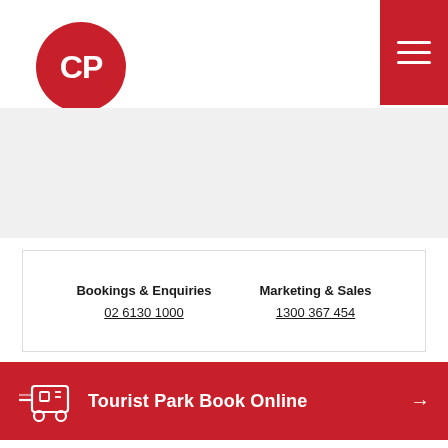[Figure (logo): CP logo — red circle with white letters CP]
[Figure (other): Red hamburger menu button (three horizontal white lines on red background)]
Bookings & Enquiries
02 6130 1000
Marketing & Sales
1300 367 454
Tourist Park Book Online →
Group Booking Enquiries →